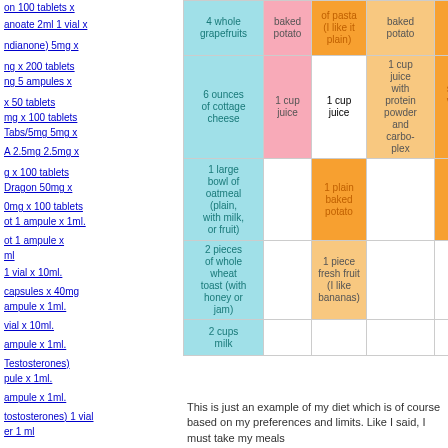on 100 tablets x
anoate 2ml 1 vial x
ndianone) 5mg x
ng x 200 tablets ng 5 ampules x
x 50 tablets mg x 100 tablets Tabs/5mg 5mg x
A 2.5mg 2.5mg x
g x 100 tablets Dragon 50mg x
0mg x 100 tablets ot 1 ampule x 1ml.
ot 1 ampule x ml
1 vial x 10ml.
capsules x 40mg ampule x 1ml.
vial x 10ml.
ampule x 1ml.
Testosterones) pule x 1ml.
ampule x 1ml.
testosterones) 1 vial er 1 ml
|  | baked potato | of pasta (I like it plain) | baked potato | beef or steak (drain all fat) | (blended with juice) |
| --- | --- | --- | --- | --- | --- |
| 4 whole grapefruits | 1 cup juice | 1 cup juice | 1 cup juice with protein powder and carbo-plex | Large serving of vegetable (I like green beans) |  |
| 6 ounces of cottage cheese | 1 cup juice | 1 cup juice |  |  |  |
| 1 large bowl of oatmeal (plain, with milk, or fruit) |  | 1 plain baked potato |  | 2 whole wheat rolls or slices of bread |  |
| 2 pieces of whole wheat toast (with honey or jam) |  | 1 piece fresh fruit (I like bananas) |  |  |  |
| 2 cups milk |  |  |  |  |  |
This is just an example of my diet which is of course based on my preferences and limits. Like I said, I must take my meals